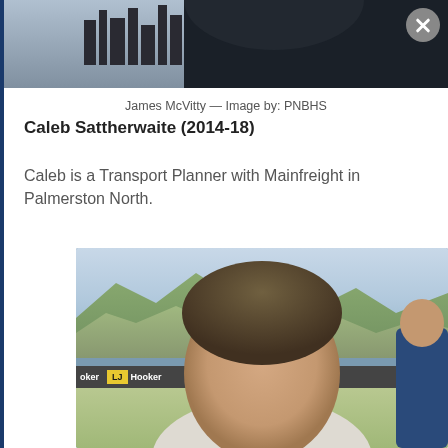[Figure (photo): Partial top photo showing a person in dark clothing with a city skyline visible in the background, with a close/X button in the top right corner]
James McVitty — Image by: PNBHS
Caleb Sattherwaite (2014-18)
Caleb is a Transport Planner with Mainfreight in Palmerston North.
[Figure (photo): Photo of Caleb Sattherwaite, a young man with short brown hair, smiling, at what appears to be a racecourse venue with L.J. Hooker signage visible and green hills and mountains in the background. Another person in a blue jacket is partially visible on the right.]